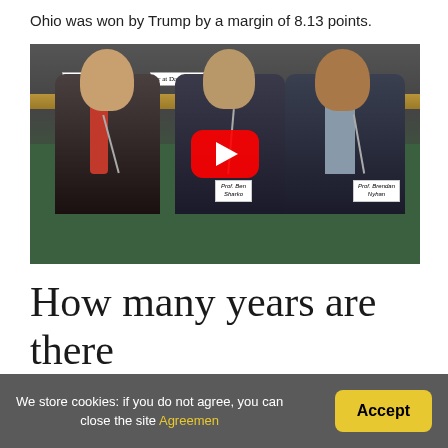Ohio was won by Trump by a margin of 8.13 points.
[Figure (photo): A YouTube video thumbnail showing three men in dark suits seated at a panel table with a green tablecloth, with nameplates reading 'Prof. Ben Sharko' and 'Prof. Brendan Nyhan'. A red YouTube play button is overlaid in the center. A sign reading 'Rocke[feller] at Dartmouth' is visible in the background.]
How many years are there between presidential
We store cookies: if you do not agree, you can close the site Agreemen
Accept